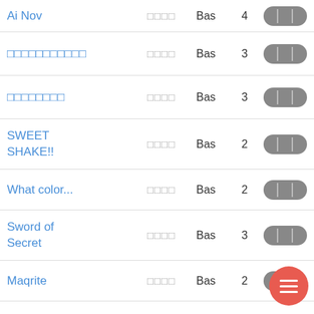Ai Nov | □□□□ | Bas | 4
□□□□□□□□□□□ | □□□□ | Bas | 3
□□□□□□□□ | □□□□ | Bas | 3
SWEET SHAKE!! | □□□□ | Bas | 2
What color... | □□□□ | Bas | 2
Sword of Secret | □□□□ | Bas | 3
Maqrite | □□□□ | Bas | 2